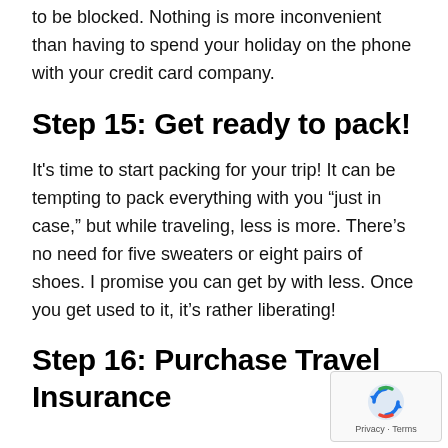to be blocked. Nothing is more inconvenient than having to spend your holiday on the phone with your credit card company.
Step 15: Get ready to pack!
It's time to start packing for your trip! It can be tempting to pack everything with you “just in case,” but while traveling, less is more. There’s no need for five sweaters or eight pairs of shoes. I promise you can get by with less. Once you get used to it, it’s rather liberating!
Step 16: Purchase Travel Insurance